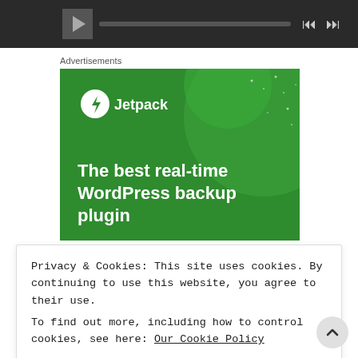[Figure (screenshot): Dark media player bar with play button, progress bar, skip back and skip forward controls]
Advertisements
[Figure (screenshot): Jetpack advertisement banner on green background with circles decoration. Shows Jetpack logo (white circle with lightning bolt icon) and text 'The best real-time WordPress backup plugin']
Privacy & Cookies: This site uses cookies. By continuing to use this website, you agree to their use.
To find out more, including how to control cookies, see here: Our Cookie Policy
CLOSE AND ACCEPT